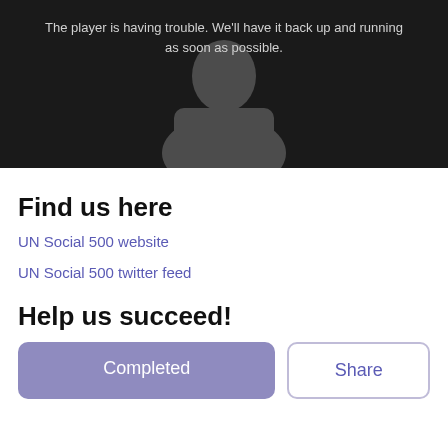[Figure (screenshot): Video player showing a dark background with a faint silhouette of a person, displaying an error message: 'The player is having trouble. We'll have it back up and running as soon as possible.']
The player is having trouble. We'll have it back up and running as soon as possible.
Find us here
UN Social 500 website
UN Social 500 twitter feed
Help us succeed!
Completed
Share